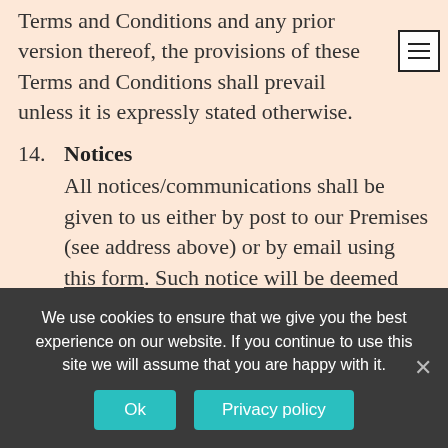Terms and Conditions and any prior version thereof, the provisions of these Terms and Conditions shall prevail unless it is expressly stated otherwise.
14. Notices
All notices/communications shall be given to us either by post to our Premises (see address above) or by email using this form. Such notice will be deemed received 3 days after posting if sent by first class post, the day of sending if the email is received in full on a business day and on the next business
We use cookies to ensure that we give you the best experience on our website. If you continue to use this site we will assume that you are happy with it.
Ok
Privacy policy